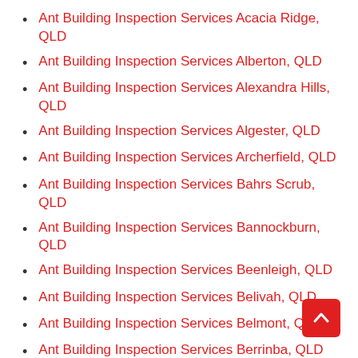Ant Building Inspection Services Acacia Ridge, QLD
Ant Building Inspection Services Alberton, QLD
Ant Building Inspection Services Alexandra Hills, QLD
Ant Building Inspection Services Algester, QLD
Ant Building Inspection Services Archerfield, QLD
Ant Building Inspection Services Bahrs Scrub, QLD
Ant Building Inspection Services Bannockburn, QLD
Ant Building Inspection Services Beenleigh, QLD
Ant Building Inspection Services Belivah, QLD
Ant Building Inspection Services Belmont, QLD
Ant Building Inspection Services Berrinba, QLD
Ant Building Inspection Services Bethania Junction, QLD
Ant Building Inspection Services Boronia Heights, QLD